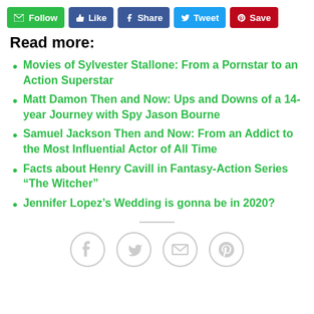[Figure (other): Row of social/action buttons: Follow (green), Like (blue), Share (Facebook blue), Tweet (Twitter blue), Save (Pinterest red)]
Read more:
Movies of Sylvester Stallone: From a Pornstar to an Action Superstar
Matt Damon Then and Now: Ups and Downs of a 14-year Journey with Spy Jason Bourne
Samuel Jackson Then and Now: From an Addict to the Most Influential Actor of All Time
Facts about Henry Cavill in Fantasy-Action Series “The Witcher”
Jennifer Lopez’s Wedding is gonna be in 2020?
[Figure (other): Row of four circular social share icons: Facebook, Twitter, Email, Pinterest]